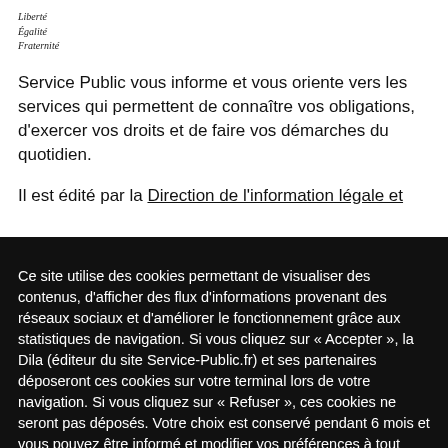Liberté
Égalité
Fraternité
Service Public vous informe et vous oriente vers les services qui permettent de connaître vos obligations, d'exercer vos droits et de faire vos démarches du quotidien.
Il est édité par la Direction de l'information légale et
Ce site utilise des cookies permettant de visualiser des contenus, d'afficher des flux d'informations provenant des réseaux sociaux et d'améliorer le fonctionnement grâce aux statistiques de navigation. Si vous cliquez sur « Accepter », la Dila (éditeur du site Service-Public.fr) et ses partenaires déposeront ces cookies sur votre terminal lors de votre navigation. Si vous cliquez sur « Refuser », ces cookies ne seront pas déposés. Votre choix est conservé pendant 6 mois et vous pouvez être informé et modifier vos préférences à tout moment sur la page « Gérer les cookies ».
Accepter | Refuser | Gérer les cookies